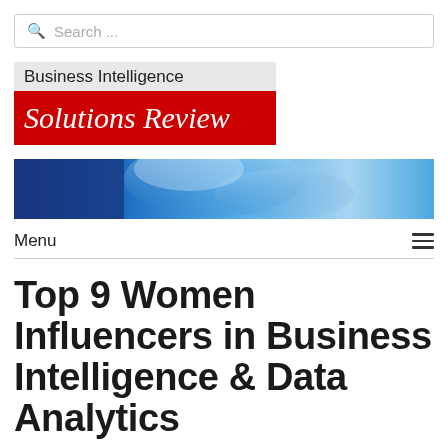Search ...
[Figure (logo): Business Intelligence Solutions Review logo: grey bar with 'Business Intelligence' text above a red bar with 'Solutions Review' in white serif italic text]
[Figure (illustration): Blue gradient banner image with abstract smooth wave-like forms in shades of blue]
Menu
Top 9 Women Influencers in Business Intelligence & Data Analytics